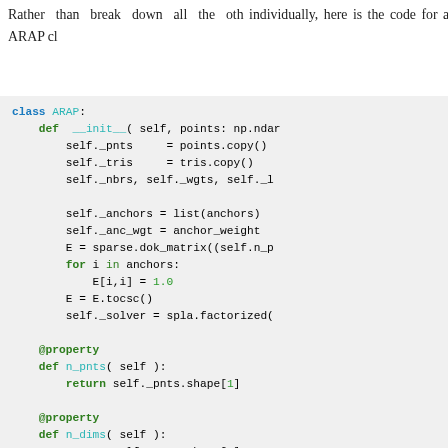Rather than break down all the other methods individually, here is the code for an ARAP cl
[Figure (screenshot): Python code block showing the ARAP class definition with __init__, n_pnts, n_dims properties, and __call__ method]